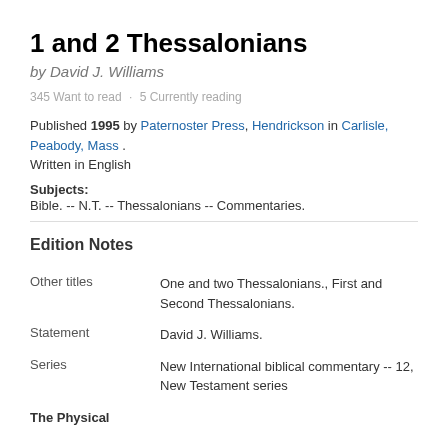1 and 2 Thessalonians
by David J. Williams
345 Want to read · 5 Currently reading
Published 1995 by Paternoster Press, Hendrickson in Carlisle, Peabody, Mass . Written in English
Subjects: Bible. -- N.T. -- Thessalonians -- Commentaries.
Edition Notes
| Field | Value |
| --- | --- |
| Other titles | One and two Thessalonians., First and Second Thessalonians. |
| Statement | David J. Williams. |
| Series | New International biblical commentary -- 12, New Testament series |
The Physical